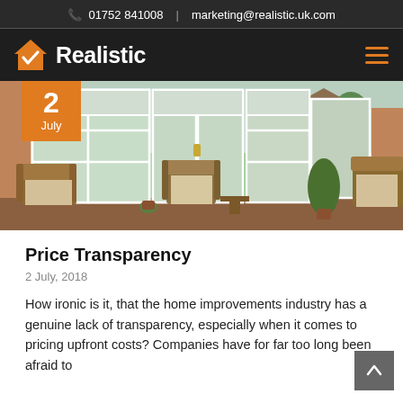📞 01752 841008  |  marketing@realistic.uk.com
[Figure (logo): Realistic logo: orange house icon with white checkmark, white bold text 'Realistic' on dark background, orange hamburger menu icon on right]
[Figure (photo): Photo of a conservatory/sunroom interior with white uPVC windows and French doors looking out onto a garden. Wicker furniture including chairs visible. Date badge overlay showing '2 July' in orange.]
Price Transparency
2 July, 2018
How ironic is it, that the home improvements industry has a genuine lack of transparency, especially when it comes to pricing upfront costs? Companies have for far too long been afraid to